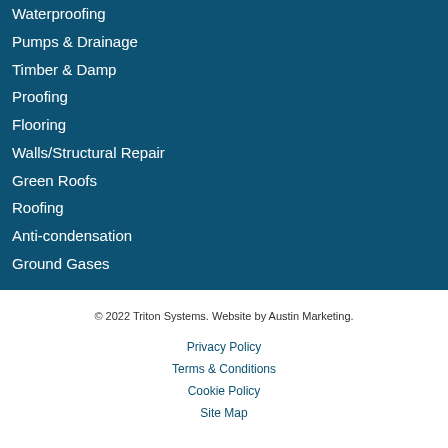Waterproofing
Pumps & Drainage
Timber & Damp
Proofing
Flooring
Walls/Structural Repair
Green Roofs
Roofing
Anti-condensation
Ground Gases
© 2022 Triton Systems. Website by Austin Marketing.
Privacy Policy
Terms & Conditions
Cookie Policy
Site Map